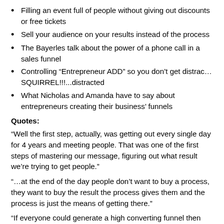Filling an event full of people without giving out discounts or free tickets
Sell your audience on your results instead of the process
The Bayerles talk about the power of a phone call in a sales funnel
Controlling “Entrepreneur ADD” so you don’t get distrac… SQUIRREL!!!...distracted
What Nicholas and Amanda have to say about entrepreneurs creating their business’ funnels
Quotes:
“Well the first step, actually, was getting out every single day for 4 years and meeting people. That was one of the first steps of mastering our message, figuring out what result we’re trying to get people.”
“…at the end of the day people don’t want to buy a process, they want to buy the result the process gives them and the process is just the means of getting there.”
“If everyone could generate a high converting funnel then everybody would do it. But it takes a little refining and to many people stop three feet from gold because they run out of money or they get to scared.”
Links:
Billiondollarbody.com/cheatsheet
FunnelHackerRadio.com
FunnelHackerRadio.com/freetrial
FunnelHackerRadio.com/dreamcar